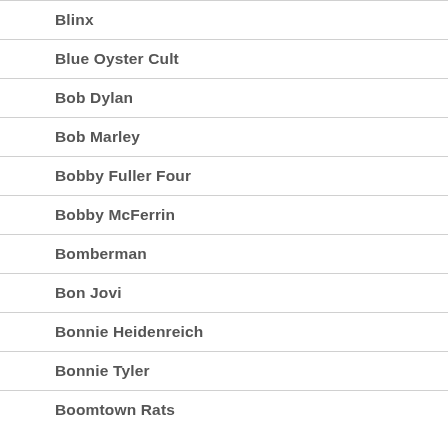Blinx
Blue Oyster Cult
Bob Dylan
Bob Marley
Bobby Fuller Four
Bobby McFerrin
Bomberman
Bon Jovi
Bonnie Heidenreich
Bonnie Tyler
Boomtown Rats